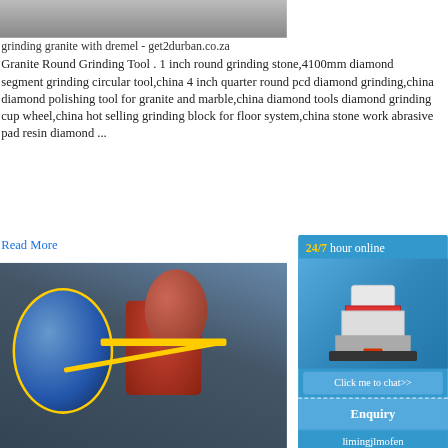[Figure (photo): Partial photo of industrial vehicle or machinery, cropped at top]
grinding granite with dremel - get2durban.co.za
Granite Round Grinding Tool . 1 inch round grinding stone,4100mm diamond segment grinding circular tool,china 4 inch quarter round pcd diamond grinding,china diamond polishing tool for granite and marble,china diamond tools diamond grinding cup wheel,china hot selling grinding block for floor system,china stone work abrasive pad resin diamond ...
Read More
[Figure (photo): Aerial/overhead photo of large industrial grinding mill or mineral processing equipment with large blue cylindrical drums, red machinery, and yellow pipes]
Diamond Block Stone Grinding Tools for Granite
Diamond Block Stone Grinding Tools this is polishing machine, semi automatic polishing polishing machine. +91 (950) 2211195 info
Read More
[Figure (infographic): Blue sidebar advertisement showing '24/7 hour online', cone crusher machine image, 'Click me to chat>>' button, 'Enquiry' section, and 'limingjlmofen' text]